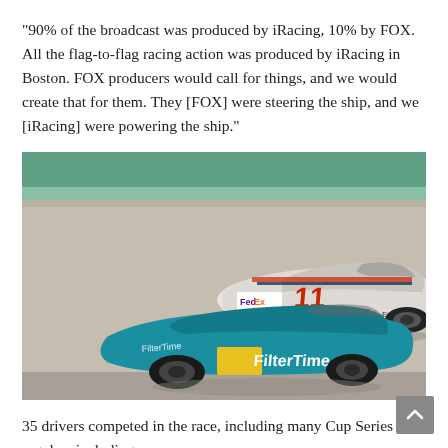“90% of the broadcast was produced by iRacing, 10% by FOX. All the flag-to-flag racing action was produced by iRacing in Boston. FOX producers would call for things, and we would create that for them. They [FOX] were steering the ship, and we [iRacing] were powering the ship.”
[Figure (photo): iRacing simulation screenshot showing two NASCAR stock cars racing on a track. The top car is white with FedEx Express livery and number 11. The bottom car is teal/blue with FilterTime sponsorship and a yellow square detail. Both cars are on a gray asphalt track with a green wall barrier visible in the background.]
35 drivers competed in the race, including many Cup Series regulars including: